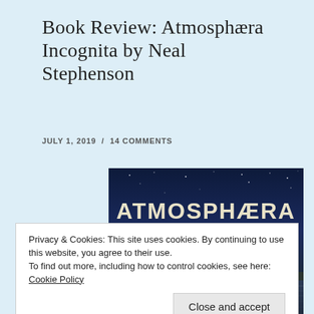Book Review: Atmosphæra Incognita by Neal Stephenson
July 1, 2019 / 14 Comments
[Figure (illustration): Book cover of Atmosphæra Incognita showing title text in large cream letters on a dark blue starry sky above a landscape with clouds and water reflections.]
Privacy & Cookies: This site uses cookies. By continuing to use this website, you agree to their use.
To find out more, including how to control cookies, see here: Cookie Policy
Close and accept